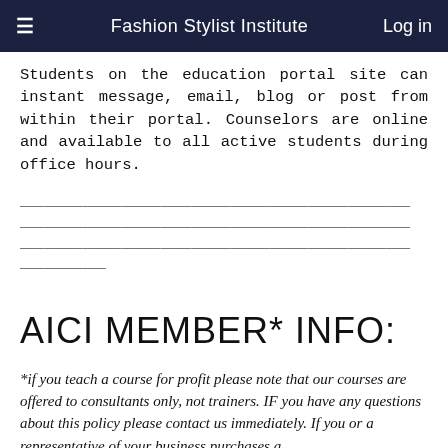≡  Fashion Stylist Institute  Log in
Students on the education portal site can instant message, email, blog or post from within their portal. Counselors are online and available to all active students during office hours.
————————————————————————————————————————————————————————————————————————————————————————————————————————————————————————————————————————————————————————
AICI MEMBER* INFO:
*if you teach a course for profit please note that our courses are offered to consultants only, not trainers. IF you have any questions about this policy please contact us immediately. If you or a representative of your business purchases a